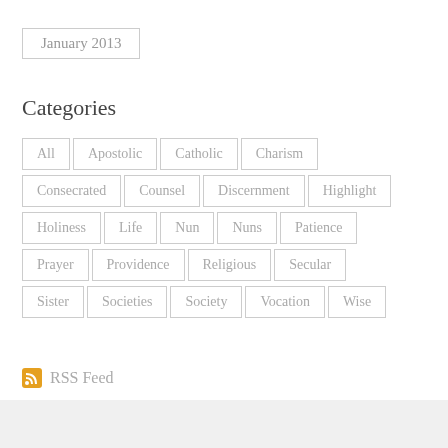January 2013
Categories
All
Apostolic
Catholic
Charism
Consecrated
Counsel
Discernment
Highlight
Holiness
Life
Nun
Nuns
Patience
Prayer
Providence
Religious
Secular
Sister
Societies
Society
Vocation
Wise
RSS Feed